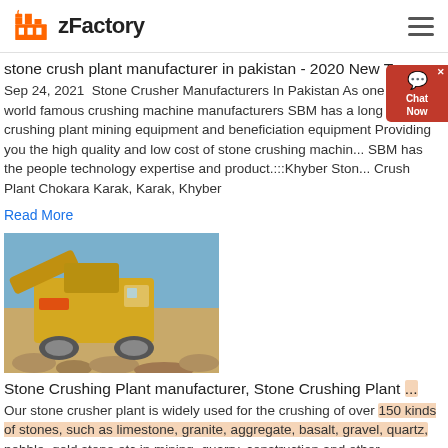zFactory
stone crush plant manufacturer in pakistan - 2020 New Type ...
Sep 24, 2021  Stone Crusher Manufacturers In Pakistan As one of the world famous crushing machine manufacturers SBM has a long tradition in crushing plant mining equipment and beneficiation equipment Providing you the high quality and low cost of stone crushing machine SBM has the people technology expertise and product.:::Khyber Stone Crush Plant Chokara Karak, Karak, Khyber
Read More
[Figure (photo): A yellow stone crushing machine photographed at a quarry or construction site under a clear blue sky, with gravel and rocks in the foreground.]
Stone Crushing Plant manufacturer, Stone Crushing Plant ...
Our stone crusher plant is widely used for the crushing of over 150 kinds of stones, such as limestone, granite, aggregate, basalt, gravel, quartz, pebble, gold stone,etc in mining, quarry, construction and other